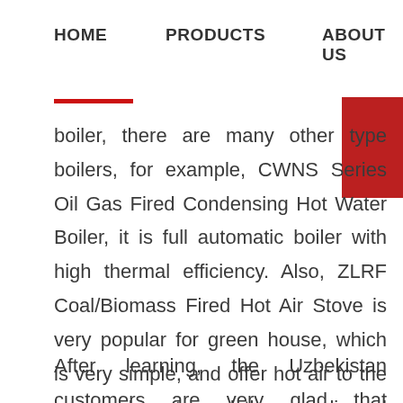HOME   PRODUCTS   ABOUT US
boiler, there are many other type boilers, for example, CWNS Series Oil Gas Fired Condensing Hot Water Boiler, it is full automatic boiler with high thermal efficiency. Also, ZLRF Coal/Biomass Fired Hot Air Stove is very popular for green house, which is very simple, and offer hot air to the space, do not need the complicated heating system.
After learning, the Uzbekistan customers are very glad that Zhongding Boiler seems so